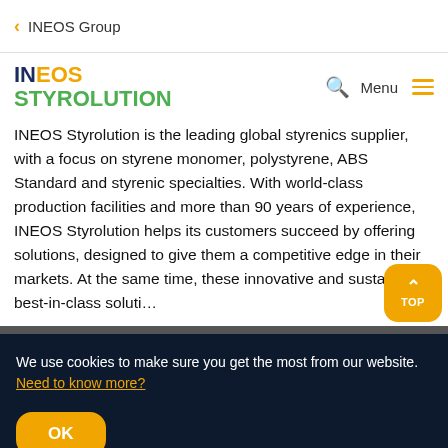< INEOS Group
[Figure (logo): INEOS Styrolution logo with search icon and hamburger menu]
INEOS Styrolution is the leading global styrenics supplier, with a focus on styrene monomer, polystyrene, ABS Standard and styrenic specialties. With world-class production facilities and more than 90 years of experience, INEOS Styrolution helps its customers succeed by offering solutions, designed to give them a competitive edge in their markets. At the same time, these innovative and sustainable best-in-class solutions...
We use cookies to make sure you get the most from our website. Need to know more?
OK